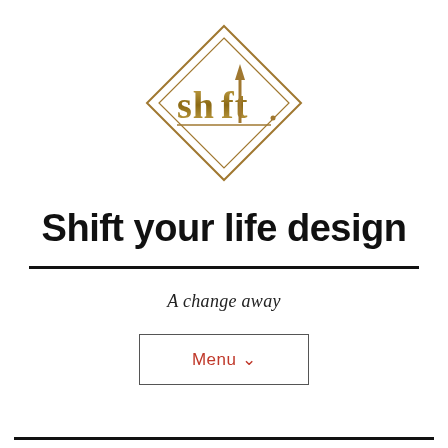[Figure (logo): Shift logo: diamond/rhombus shape outline with the word 'shift' in gold/bronze lettering inside, with an upward arrow through the 'i']
Shift your life design
A change away
Menu ∨